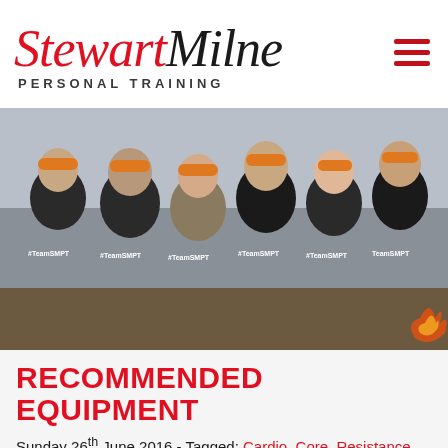Stewart Milne Personal Training
[Figure (photo): Group photo of six people wearing black Stewart Milne Personal Training shirts and orange headbands, muddy from an obstacle race, smiling at the camera. Shirts show #TeamSMPT logo.]
RECOMMENDED EQUIPMENT
Sunday 26th June 2016 - Tagged: Cardio, Core, Resistance, Strength